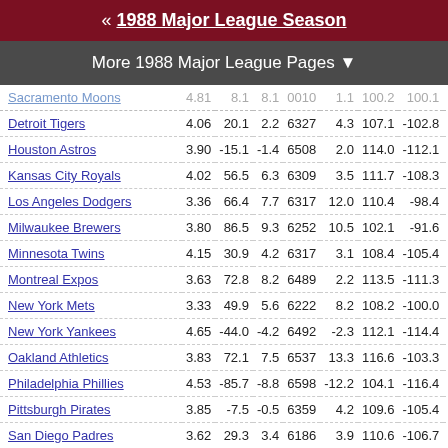« 1988 Major League Season
More 1988 Major League Pages ▼
| Team | ERA | col2 | col3 | col4 | col5 | col6 | col7 | col8 |
| --- | --- | --- | --- | --- | --- | --- | --- | --- |
| Sacramento Moons (partial) | 4.81 | 8.1 | 8.1 | 0010 | 1.1 | 100.2 | 100.1 | 1.00 |
| Detroit Tigers | 4.06 | 20.1 | 2.2 | 6327 | 4.3 | 107.1 | -102.8 | 1.01 |
| Houston Astros | 3.90 | -15.1 | -1.4 | 6508 | 2.0 | 114.0 | -112.1 | 1.09 |
| Kansas City Royals | 4.02 | 56.5 | 6.3 | 6309 | 3.5 | 111.7 | -108.3 | 1.03 |
| Los Angeles Dodgers | 3.36 | 66.4 | 7.7 | 6317 | 12.0 | 110.4 | -98.4 | 1.06 |
| Milwaukee Brewers | 3.80 | 86.5 | 9.3 | 6252 | 10.5 | 102.1 | -91.6 | .95 |
| Minnesota Twins | 4.15 | 30.9 | 4.2 | 6317 | 3.1 | 108.4 | -105.4 | 1.00 |
| Montreal Expos | 3.63 | 72.8 | 8.2 | 6489 | 2.2 | 113.5 | -111.3 | 1.07 |
| New York Mets | 3.33 | 49.9 | 5.6 | 6222 | 8.2 | 108.2 | -100.0 | 1.06 |
| New York Yankees | 4.65 | -44.0 | -4.2 | 6492 | -2.3 | 112.1 | -114.4 | 1.01 |
| Oakland Athletics | 3.83 | 72.1 | 7.5 | 6537 | 13.3 | 116.6 | -103.3 | 1.04 |
| Philadelphia Phillies | 4.53 | -85.7 | -8.8 | 6598 | -12.2 | 104.1 | -116.4 | 1.02 |
| Pittsburgh Pirates | 3.85 | -7.5 | -0.5 | 6359 | 4.2 | 109.6 | -105.4 | 1.06 |
| San Diego Padres | 3.62 | 29.3 | 3.4 | 6186 | 3.9 | 110.6 | -106.7 | 1.06 |
| Seattle Mariners | 4.62 | -3.1 | 0.3 | 6378 | -8.2 | 105.8 | -114.0 | 1.00 |
| San Francisco Giants | 3.86 | -20.0 | -2.0 | 6280 | -0.2 | 107.0 | -107.2 | 1.05 |